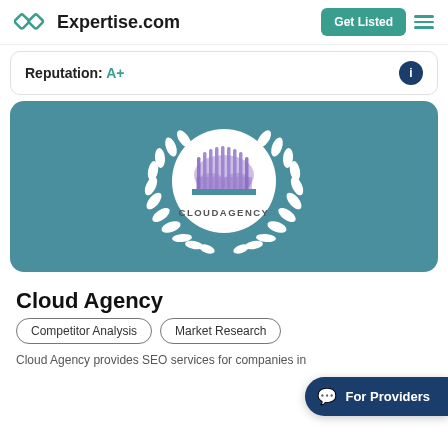Expertise.com
Reputation: A+
[Figure (logo): CloudAgency award badge with laurel wreath on teal background. White circle in center with purple striped cloud logo and text CLOUDAGENCY below it.]
Cloud Agency
Competitor Analysis
Market Research
Cloud Agency provides SEO services for companies in
For Providers